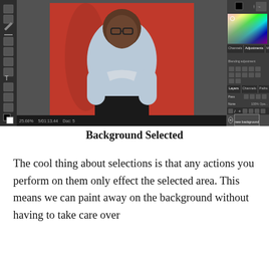[Figure (screenshot): Adobe Photoshop interface showing a portrait photo of a man wearing glasses and a light blue sweater against a red background. The Photoshop UI shows toolbars, panels with layers (Background and 'new background'), color picker, and adjustments panel on the right side.]
Background Selected
The cool thing about selections is that any actions you perform on them only effect the selected area. This means we can paint away on the background without having to take care over